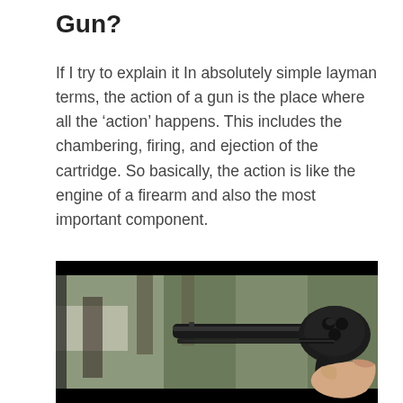Gun?
If I try to explain it In absolutely simple layman terms, the action of a gun is the place where all the ‘action’ happens. This includes the chambering, firing, and ejection of the cartridge. So basically, the action is like the engine of a firearm and also the most important component.
[Figure (photo): A hand holding a black revolver pointed toward the viewer, with a blurred green and gray outdoor background. The image has black bars at the top and bottom.]